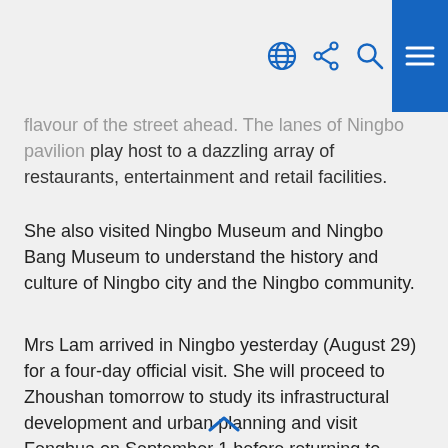[navigation icons: globe, share, search, menu]
...flavour of the street ahead. The lanes of Ningbo pavilion play host to a dazzling array of restaurants, entertainment and retail facilities.
She also visited Ningbo Museum and Ningbo Bang Museum to understand the history and culture of Ningbo city and the Ningbo community.
Mrs Lam arrived in Ningbo yesterday (August 29) for a four-day official visit. She will proceed to Zhoushan tomorrow to study its infrastructural development and urban planning and visit Fenghua on September 1 before returning to Hong Kong.